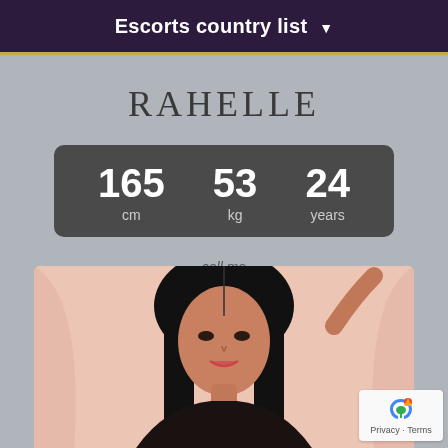Escorts country list ▾
RAHELLE
| measure | value | unit |
| --- | --- | --- |
| height | 165 | cm |
| weight | 53 | kg |
| age | 24 | years |
call me
+447808555097
[Figure (photo): Portrait photo of a young woman with long dark hair against a pink background]
Privacy · Terms